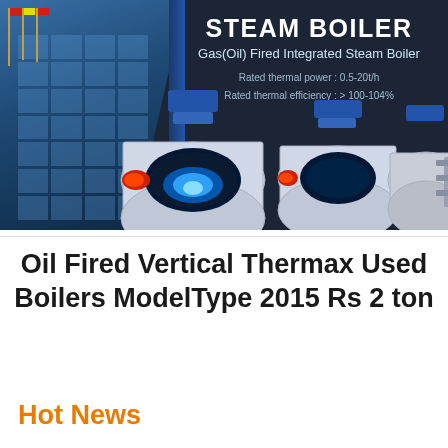[Figure (photo): Dark navy banner showing a glass building facade on the left with flagpoles, and three gas/oil fired integrated steam boilers on a dark background on the right. Text overlay reads STEAM BOILER, Gas(Oil) Fired Integrated Steam Boiler, Rated thermal power: 0.5-20t/h, Rated thermal efficiency: > 100-104%]
Oil Fired Vertical Thermax Used Boilers ModelType 2015 Rs 2 ton
Hot News